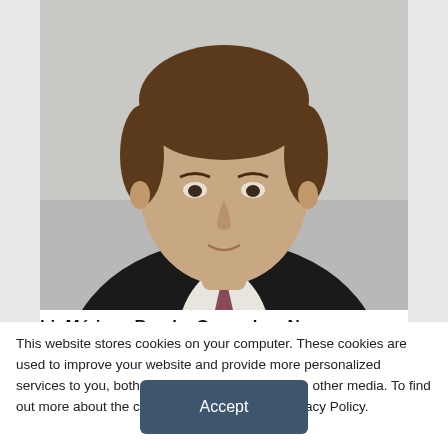[Figure (photo): Headshot of a man in a dark suit and tie, light background, professional portrait photo]
bioMérieux Breaks Ground on New
This website stores cookies on your computer. These cookies are used to improve your website and provide more personalized services to you, both on this website and through other media. To find out more about the cookies we use, see our Privacy Policy.